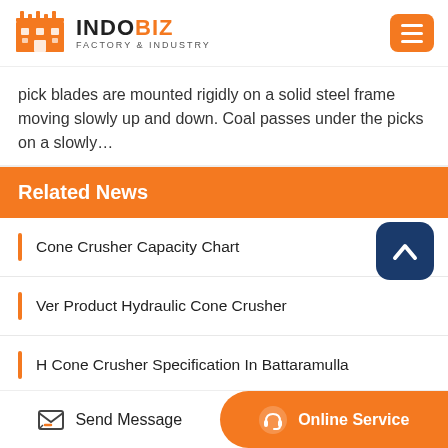INDOBIZ FACTORY & INDUSTRY
pick blades are mounted rigidly on a solid steel frame moving slowly up and down. Coal passes under the picks on a slowly…
Related News
Cone Crusher Capacity Chart
Ver Product Hydraulic Cone Crusher
H Cone Crusher Specification In Battaramulla
Hydraulic Cylinder Cone Crusher Manufacturer
Send Message | Online Service